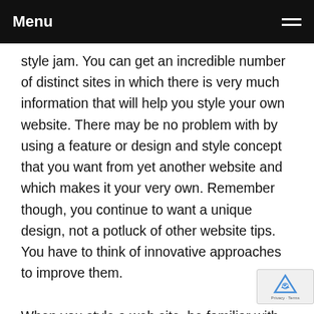Menu
style jam. You can get an incredible number of distinct sites in which there is very much information that will help you style your own website. There may be no problem with by using a feature or design and style concept that you want from yet another website and which makes it your very own. Remember though, you continue to want a unique design, not a potluck of other website tips. You have to think of innovative approaches to improve them.
When you style a web site, be familiar with the need for departing empty area with your structure. Employing all pixels readily available could cause your website to truly feel messy. Keep Net Design For